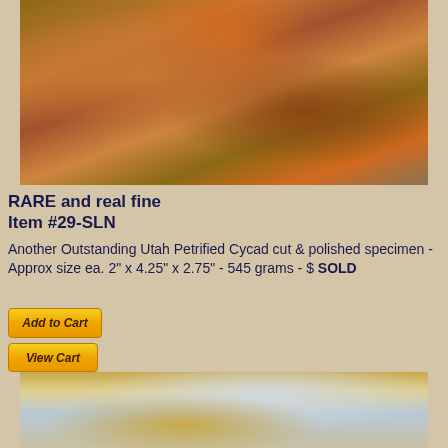[Figure (photo): Close-up photograph of a petrified cycad specimen showing brown, orange, and rusty colored textured rock surface on a wooden background]
RARE and real fine
Item #29-SLN
Another Outstanding Utah Petrified Cycad cut & polished specimen - Approx size ea. 2" x 4.25" x 2.75" - 545 grams - $ SOLD
[Figure (other): Add to Cart button - yellow/gold gradient button with italic bold text]
[Figure (other): View Cart button - yellow/gold gradient button with italic bold text]
[Figure (photo): Partial photograph of another petrified cycad specimen showing brown, amber, and blue-grey polished surface]